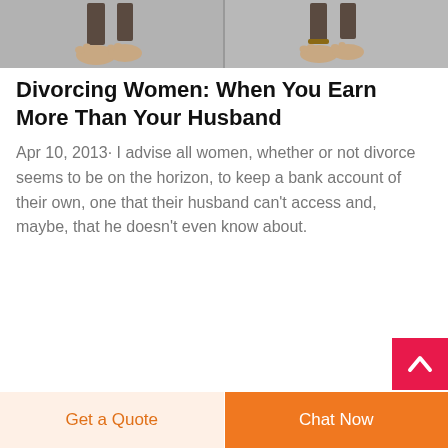[Figure (photo): Two sets of feet/ankles against a gray background, split into left and right panels.]
Divorcing Women: When You Earn More Than Your Husband
Apr 10, 2013· I advise all women, whether or not divorce seems to be on the horizon, to keep a bank account of their own, one that their husband can't access and, maybe, that he doesn't even know about.
[Figure (other): Back to top button (pink/red square with upward chevron arrow) in bottom right area.]
Get a Quote
Chat Now